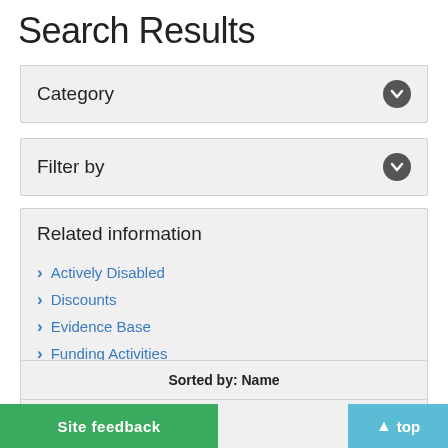Search Results
Category
Filter by
Related information
Actively Disabled
Discounts
Evidence Base
Funding Activities
Safety First
Sorted by: Name
Site feedback
top